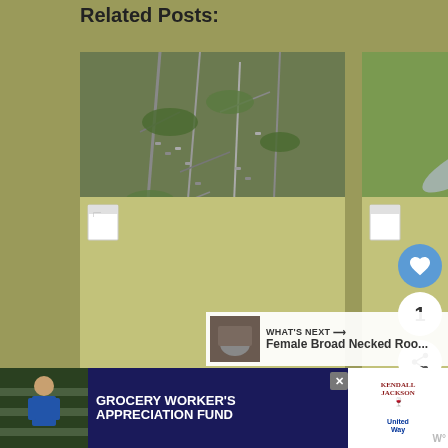Related Posts:
[Figure (photo): Photo of aggregation of Tiphiid Wasps on plant branches with green leaves]
Aggregation of Tiphiid Wasps
[Figure (photo): Photo of a Flower Wasp from Australia on white flowers]
Flower Wasp from Australia
[Figure (photo): Placeholder image for Bachelor Party of Flower Wasps in (location)]
Bachelor Party of Flower Wasps in
[Figure (photo): Placeholder image for Bachelor Party of Wasps in Florida]
Bachelor Party of Wasps in Florida
WHAT'S NEXT → Female Broad Necked Roo...
[Figure (infographic): Advertisement banner: GROCERY WORKER'S APPRECIATION FUND with Kendall Jackson and United Way logos]